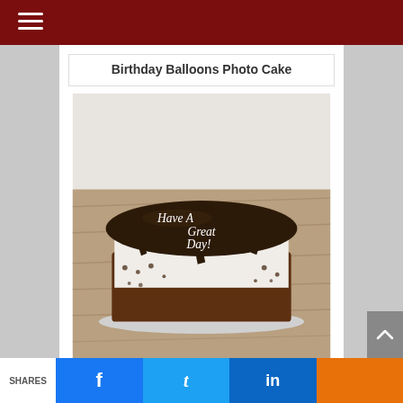Birthday Balloons Photo Cake
[Figure (photo): A round chocolate cake with chocolate ganache dripping over white frosting sides, covered in chocolate crumbs at base, with white handwritten icing text reading 'Have A Great Day!' on the chocolate top, placed on a wooden surface with a white wall background.]
SHARES | Facebook | Twitter | LinkedIn